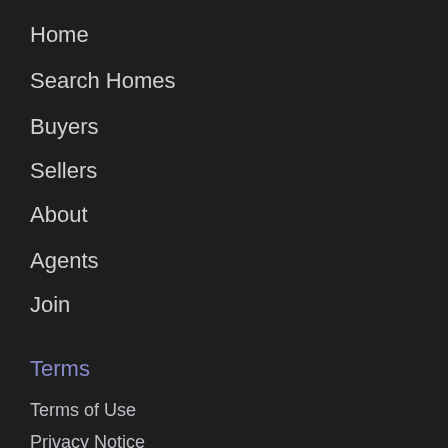Home
Search Homes
Buyers
Sellers
About
Agents
Join
Terms
Terms of Use
Privacy Notice
DMCA
[Figure (logo): Equal Housing Opportunity logo — white house icon with equal sign, black background, text EQUAL HOUSING OPPORTUNITY below]